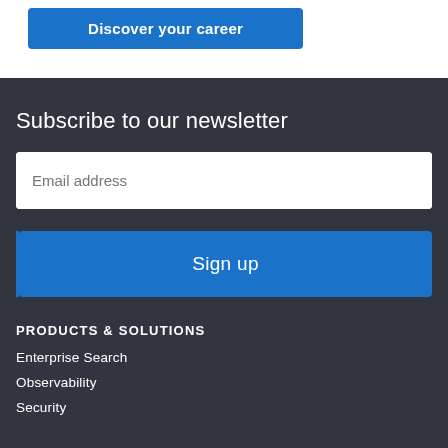[Figure (other): Blue 'Discover your career' button on white background]
Subscribe to our newsletter
Email address
Sign up
PRODUCTS & SOLUTIONS
Enterprise Search
Observability
Security